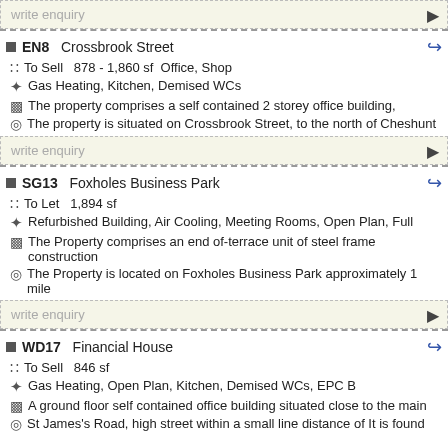write enquiry
EN8  Crossbrook Street
To Sell  878 - 1,860 sf  Office, Shop
Gas Heating, Kitchen, Demised WCs
The property comprises a self contained 2 storey office building,
The property is situated on Crossbrook Street, to the north of Cheshunt
write enquiry
SG13  Foxholes Business Park
To Let  1,894 sf
Refurbished Building, Air Cooling, Meeting Rooms, Open Plan, Full
The Property comprises an end of-terrace unit of steel frame construction
The Property is located on Foxholes Business Park approximately 1 mile
write enquiry
WD17  Financial House
To Sell  846 sf
Gas Heating, Open Plan, Kitchen, Demised WCs, EPC B
A ground floor self contained office building situated close to the main
St James's Road, high street within a small line distance of It is found